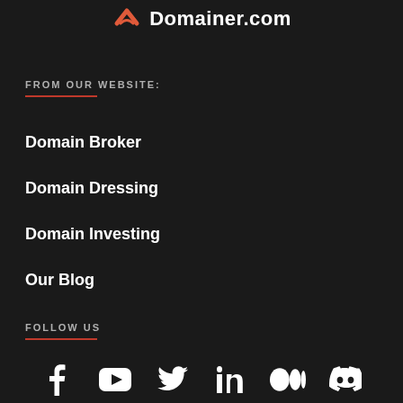[Figure (logo): Domainer.com logo with red arrow/ribbon icon and white bold text]
FROM OUR WEBSITE:
Domain Broker
Domain Dressing
Domain Investing
Our Blog
FOLLOW US
[Figure (infographic): Social media icons: Facebook, YouTube, Twitter, LinkedIn, Medium, Discord]